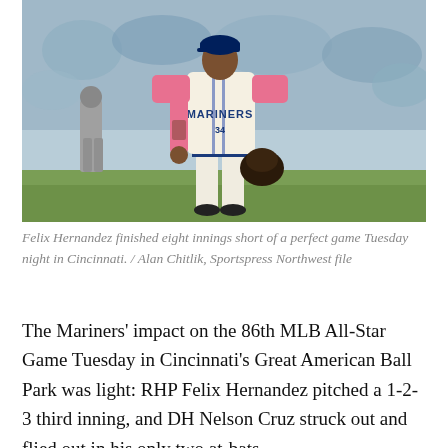[Figure (photo): Felix Hernandez in a Seattle Mariners cream uniform with pink sleeves, wearing a baseball glove, walking on the field. A referee is visible in the background along with crowd in the stands.]
Felix Hernandez finished eight innings short of a perfect game Tuesday night in Cincinnati. / Alan Chitlik, Sportspress Northwest file
The Mariners' impact on the 86th MLB All-Star Game Tuesday in Cincinnati's Great American Ball Park was light: RHP Felix Hernandez pitched a 1-2-3 third inning, and DH Nelson Cruz struck out and flied out in his only two at-bats.